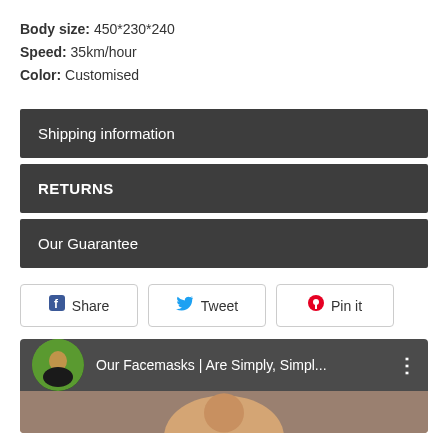Body size: 450*230*240
Speed: 35km/hour
Color: Customised
Shipping information
RETURNS
Our Guarantee
Share  Tweet  Pin it
[Figure (screenshot): YouTube video preview showing 'Our Facemasks | Are Simply, Simpl...' with a channel avatar and three-dot menu icon]